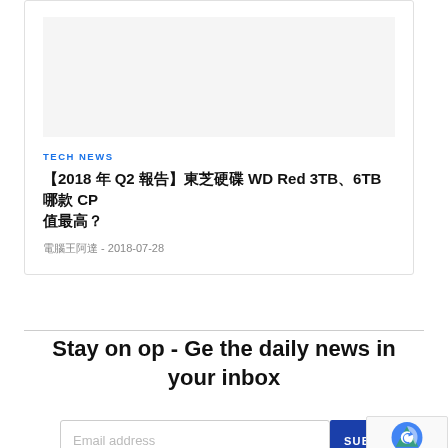[Figure (photo): Gray placeholder image area at top of article card]
TECH NEWS
【2018 年 Q2 報告】東芝硬碟 WD Red 3TB、6TB 哪款 CP 值最高？
電腦王阿達 - 2018-07-28
Stay on op - Ge the daily news in your inbox
Email address
SUBSCRIB